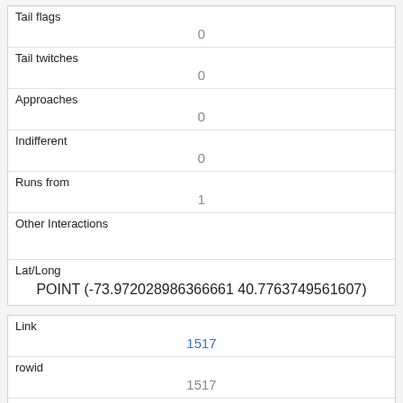| Tail flags | 0 |
| Tail twitches | 0 |
| Approaches | 0 |
| Indifferent | 0 |
| Runs from | 1 |
| Other Interactions |  |
| Lat/Long | POINT (-73.972028986366661 40.7763749561607) |
| Link | 1517 |
| rowid | 1517 |
| longitude | -73.97204109051635 |